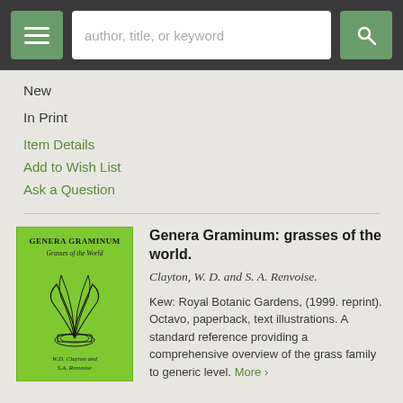author, title, or keyword
New
In Print
Item Details
Add to Wish List
Ask a Question
[Figure (illustration): Book cover of Genera Graminum: Grasses of the World, bright green cover with botanical illustration of grass, authors W.D. Clayton and S.A. Renvoise]
Genera Graminum: grasses of the world.
Clayton, W. D. and S. A. Renvoise.
Kew: Royal Botanic Gardens, (1999. reprint). Octavo, paperback, text illustrations. A standard reference providing a comprehensive overview of the grass family to generic level. More >